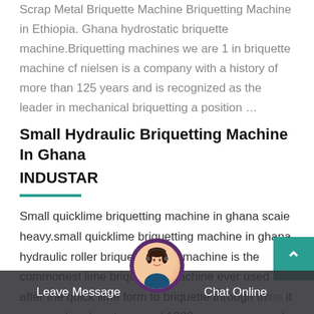Scrap Metal Briquette Machine Briquetting Machine in Ethiopia. Ghana hydrostatic briquette machine.Briquetting machines we are 1 in briquette machine cf nielsen is a company with a history of more than 125 years and is recognized as the leader in mechanical briquetting a position …
Small Hydraulic Briquetting Machine In Ghana
INDUSTAR
Small quicklime briquetting machine in ghana scaie heavy.small quicklime briquetting machine in ghana hydraulic roller briquette press machine is the commonest lime briquetting machine ever used after the quick lime form to briquette through the machine it can reach a density around 1922 gcm very good briquette machine to press the
Leave Message   Chat Online